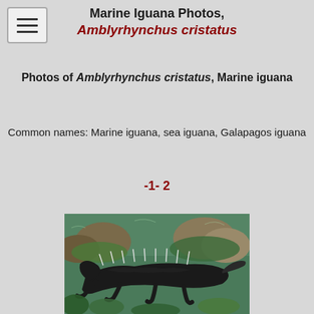Marine Iguana Photos, Amblyrhynchus cristatus
Photos of Amblyrhynchus cristatus, Marine iguana
Common names: Marine iguana, sea iguana, Galapagos iguana
-1- 2
[Figure (photo): Underwater photograph of a marine iguana (Amblyrhynchus cristatus) swimming or resting on rocks covered with algae and coral, with spines visible along its back.]